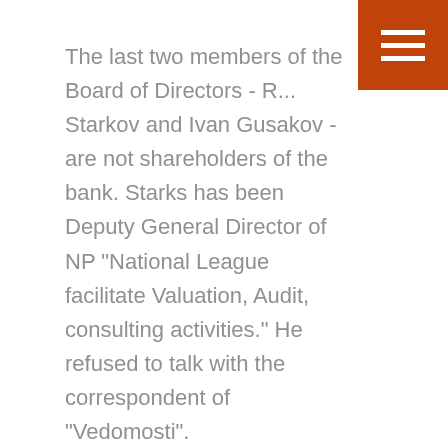The last two members of the Board of Directors - R... Starkov and Ivan Gusakov - are not shareholders of the bank. Starks has been Deputy General Director of NP "National League facilitate Valuation, Audit, consulting activities." He refused to talk with the correspondent of "Vedomosti".